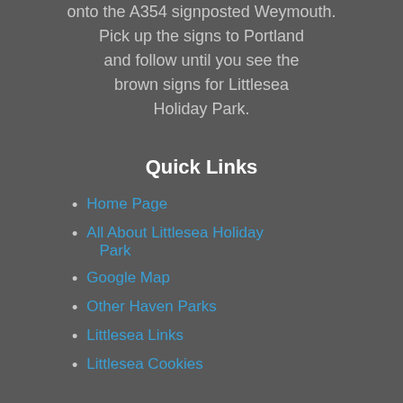onto the A354 signposted Weymouth. Pick up the signs to Portland and follow until you see the brown signs for Littlesea Holiday Park.
Quick Links
Home Page
All About Littlesea Holiday Park
Google Map
Other Haven Parks
Littlesea Links
Littlesea Cookies